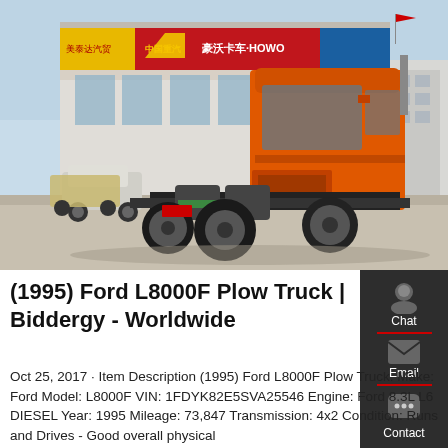[Figure (photo): Orange SINOTRUK heavy-duty truck (cab-over tractor) parked in front of a SINOTRUK / HOWO dealership building with red and yellow signage in China. Several other vehicles are visible in the background parking area.]
(1995) Ford L8000F Plow Truck | Biddergy - Worldwide
Oct 25, 2017 · Item Description (1995) Ford L8000F Plow Truck. Make: Ford Model: L8000F VIN: 1FDYK82E5SVA25546 Engine: Ford 8.3L L6 DIESEL Year: 1995 Mileage: 73,847 Transmission: 4x2 Condition: Runs and Drives - Good overall physical